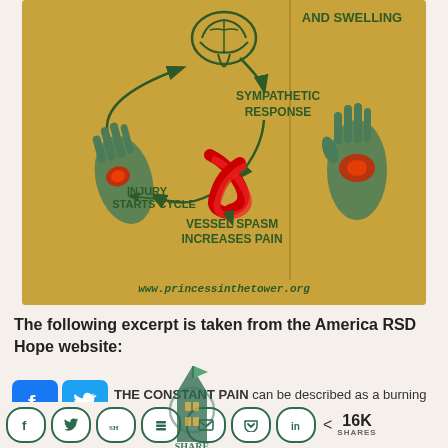[Figure (infographic): Medical infographic showing RSD/CRPS pain cycle diagram on tan/golden background. Shows brain with sympathetic response arrows, two hands with red pain spots, label 'INJURY STARTS CYCLE', 'VESSEL SPASM INCREASES PAIN', and blood vessel illustrations. Right side shows 'AND SWELLING' text. URL: www.princessinthetower.org]
The following excerpt is taken from the America RSD Hope website:
THE CONSTANT PAIN can be described as a burning pain. It feels as if a red hot poker were inserted into the
[Figure (infographic): Social sharing bar with Facebook, Twitter, share logo overlay buttons and bottom row with circular social icons (Facebook, Twitter, Share, Buffer, Email, Pocket, LinkedIn) plus share count showing 16K SHARES]